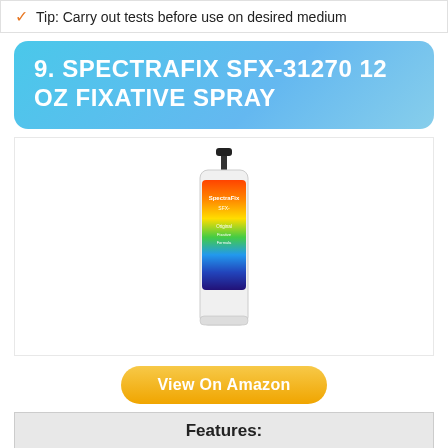Tip: Carry out tests before use on desired medium
9. SPECTRAFIX SFX-31270 12 OZ FIXATIVE SPRAY
[Figure (photo): A SpectraFix SFX-31270 12 oz fixative spray pump bottle with a rainbow-colored label]
View On Amazon
| Features: |
| --- |
| PLEASE NOTE: The product photograph shows three |
| The product you will receive is the 12 oz. pump spray |